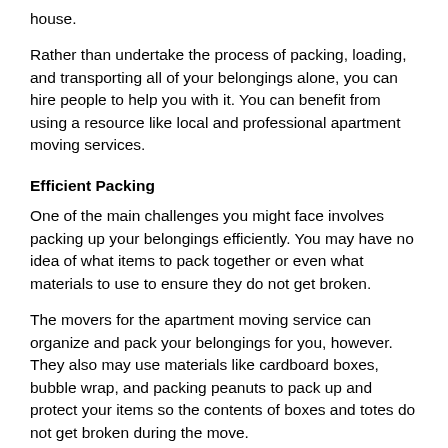house.
Rather than undertake the process of packing, loading, and transporting all of your belongings alone, you can hire people to help you with it. You can benefit from using a resource like local and professional apartment moving services.
Efficient Packing
One of the main challenges you might face involves packing up your belongings efficiently. You may have no idea of what items to pack together or even what materials to use to ensure they do not get broken.
The movers for the apartment moving service can organize and pack your belongings for you, however. They also may use materials like cardboard boxes, bubble wrap, and packing peanuts to pack up and protect your items so the contents of boxes and totes do not get broken during the move.
Professional Loading
The movers for the apartment moving service can also load your house, totes, and furniture safely and efficiently for you. You